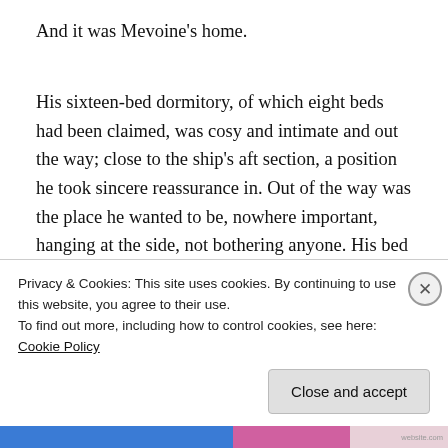And it was Mevoine’s home.
His sixteen-bed dormitory, of which eight beds had been claimed, was cosy and intimate and out the way; close to the ship’s aft section, a position he took sincere reassurance in. Out of the way was the place he wanted to be, nowhere important, hanging at the side, not bothering anyone. His bed was tucked into a weedy alcove; forestry had invaded the dorm, thick branches and flower-limbs and dangling moss split
Privacy & Cookies: This site uses cookies. By continuing to use this website, you agree to their use.
To find out more, including how to control cookies, see here: Cookie Policy